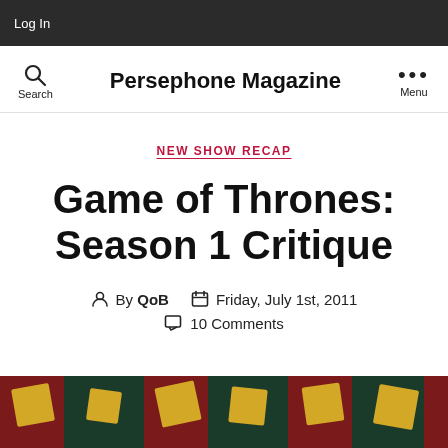Log In
Persephone Magazine
NEW SHOW RECAP
Game of Thrones: Season 1 Critique
By QoB  Friday, July 1st, 2011  10 Comments
[Figure (illustration): Decorative image at the bottom showing a dark checkered pattern with gold/yellow square shapes]